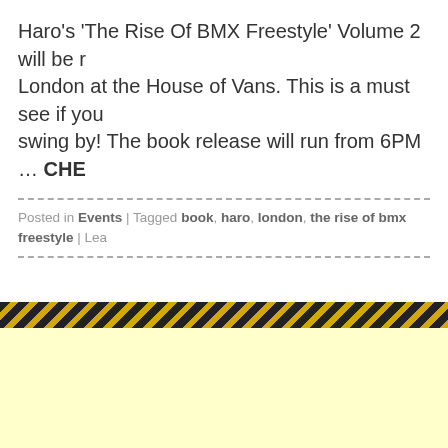Haro's 'The Rise Of BMX Freestyle' Volume 2 will be r... London at the House of Vans. This is a must see if you swing by! The book release will run from 6PM … CHE...
Posted in Events | Tagged book, haro, london, the rise of bmx freestyle | Lea...